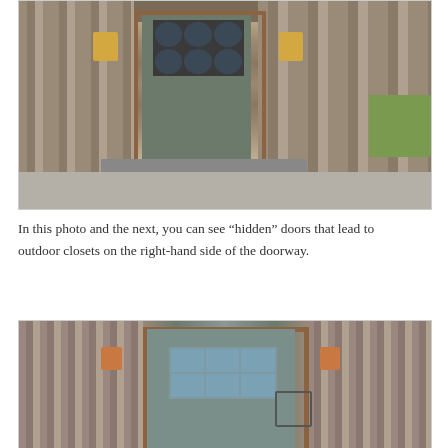[Figure (photo): Exterior photo of a rustic barn-style building entrance with weathered wood plank siding, a grey-green craftsman door with circular glass panes, wooden door frame, two wall-mounted lantern lights, boots and a mat on the concrete step, stone base, and green grass/trees visible to the right.]
In this photo and the next, you can see “hidden” doors that lead to outdoor closets on the right-hand side of the doorway.
[Figure (photo): Close-up exterior photo of the same barn-style building entrance showing a grey-blue craftsman door with rectangular glass panes set in a warm wood frame, weathered wood plank siding, two copper wall-mounted lanterns, stone wall on the left, and a decorative metal door handle/latch on the right side panel.]